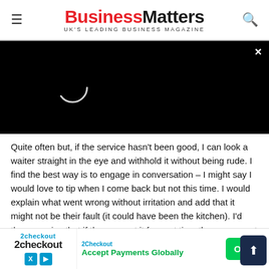BusinessMatters — UK'S LEADING BUSINESS MAGAZINE
[Figure (screenshot): Black video player area with loading spinner circle, close (×) button in top-right corner]
Quite often but, if the service hasn't been good, I can look a waiter straight in the eye and withhold it without being rude. I find the best way is to engage in conversation – I might say I would love to tip when I come back but not this time. I would explain what went wrong without irritation and add that it might not be their fault (it could have been the kitchen). I'd then promise that if they correct it for next time they can count on a good tip from me. The trick is to be nice.
What's t…
My Be…
[Figure (screenshot): 2Checkout advertisement banner: logo with 2checkout name and icons, text 'Accept Payments Globally' in green, Open button in green, scroll-to-top dark button on right]